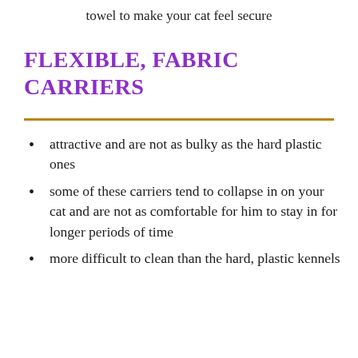towel to make your cat feel secure
FLEXIBLE, FABRIC CARRIERS
attractive and are not as bulky as the hard plastic ones
some of these carriers tend to collapse in on your cat and are not as comfortable for him to stay in for longer periods of time
more difficult to clean than the hard, plastic kennels